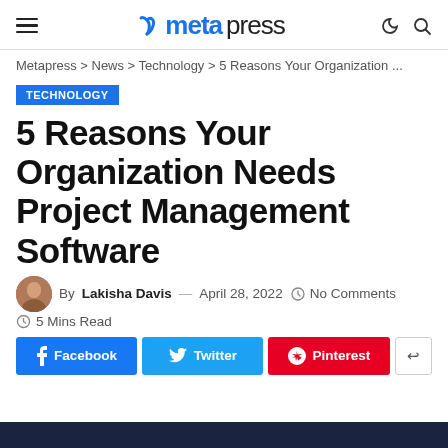metapress
Metapress > News > Technology > 5 Reasons Your Organization ...
TECHNOLOGY
5 Reasons Your Organization Needs Project Management Software
By Lakisha Davis — April 28, 2022  No Comments
5 Mins Read
Facebook  Twitter  Pinterest